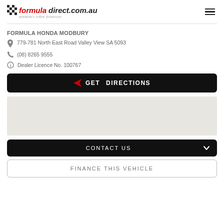formuladirect.com.au — adelaide's online showroom
FORMULA HONDA MODBURY
779-781 North East Road Valley View SA 5093
(08) 8265 9555
Dealer Licence No. 100767
GET DIRECTIONS
[Figure (map): Embedded map area showing dealership location]
CONTACT US
FINANCE THIS VEHICLE